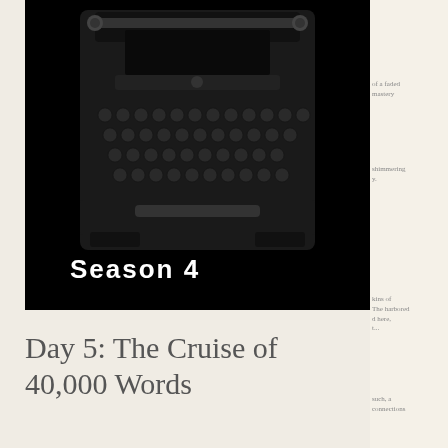[Figure (photo): A vintage black typewriter photographed against a black background, showing the keyboard and paper roller mechanism from above. White text 'Season 4' overlaid in the lower-left area of the image.]
Day 5: The Cruise of 40,000 Words